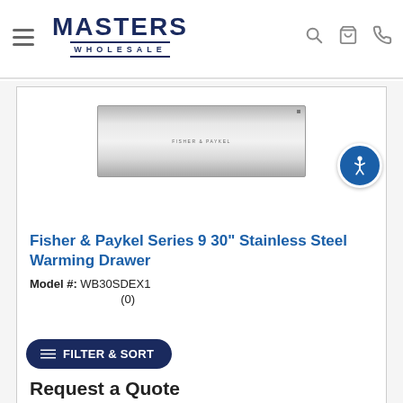Masters Wholesale
[Figure (photo): Fisher & Paykel stainless steel warming drawer product image - rectangular drawer with metallic gradient finish and brand name text centered]
Fisher & Paykel Series 9 30" Stainless Steel Warming Drawer
Model #: WB30SDEX1
(0)
Request a Quote